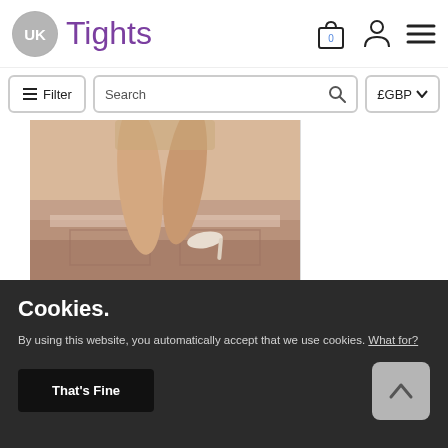[Figure (logo): UK Tights logo with grey circle UK initials and purple Tights text]
[Figure (screenshot): Header navigation bar with shopping bag icon showing 0, user account icon, and hamburger menu icon]
[Figure (screenshot): Filter button, Search bar, and GBP currency selector toolbar]
[Figure (photo): Photo of woman's legs wearing stockings/tights with high heels, seated on white furniture with pink background]
Cookies.
By using this website, you automatically accept that we use cookies. What for?
That's Fine